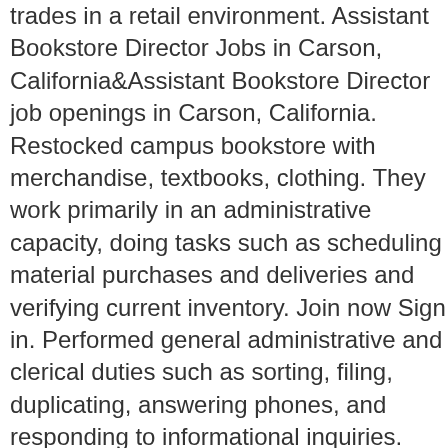trades in a retail environment. Assistant Bookstore Director Jobs in Carson, California&Assistant Bookstore Director job openings in Carson, California. Restocked campus bookstore with merchandise, textbooks, clothing. They work primarily in an administrative capacity, doing tasks such as scheduling material purchases and deliveries and verifying current inventory. Join now Sign in. Performed general administrative and clerical duties such as sorting, filing, duplicating, answering phones, and responding to informational inquiries. Responsible for daily decision-making, schedules, ambassador assignments, store planning, and completion of reports in a timely and accurate manner. Search 70 Bookstore jobs now available on Indeed.com, the world's largest job site. Selected items for the highest resale value. Relevance. Bookstore General Merchandise Buyer Assistant : Bookstore Lead Sales Associate : Bookstore Stockroom Lead : Bookstore Technical Assistant: Bookstore Textbook Buyer : Bookstore Textbook Buyer Assistant: Building Automation Systems Technician: Budget Specialst: Business